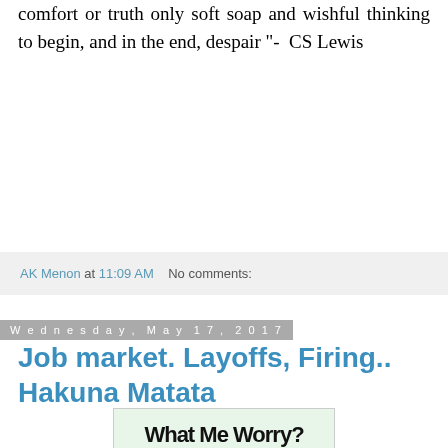comfort or truth only soft soap and wishful thinking to begin, and in the end, despair "- CS Lewis
AK Menon at 11:09 AM   No comments:
Wednesday, May 17, 2017
Job market. Layoffs, Firing.. Hakuna Matata
[Figure (illustration): Thumbnail image with bold text reading 'What Me Worry?']